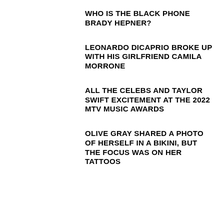WHO IS THE BLACK PHONE BRADY HEPNER?
LEONARDO DICAPRIO BROKE UP WITH HIS GIRLFRIEND CAMILA MORRONE
ALL THE CELEBS AND TAYLOR SWIFT EXCITEMENT AT THE 2022 MTV MUSIC AWARDS
OLIVE GRAY SHARED A PHOTO OF HERSELF IN A BIKINI, BUT THE FOCUS WAS ON HER TATTOOS